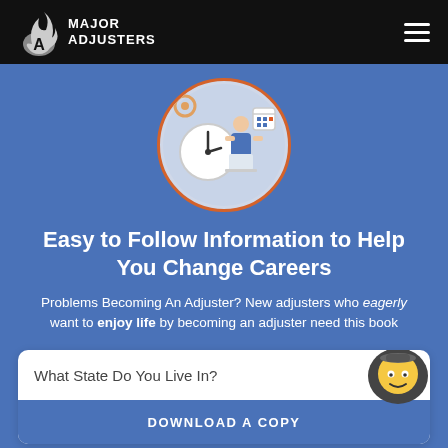MAJOR ADJUSTERS
[Figure (illustration): Circular illustration with orange border showing a person working at a desk with a clock and calendar, on a light blue background]
Easy to Follow Information to Help You Change Careers
Problems Becoming An Adjuster? New adjusters who eagerly want to enjoy life by becoming an adjuster need this book
What State Do You Live In?
DOWNLOAD A COPY